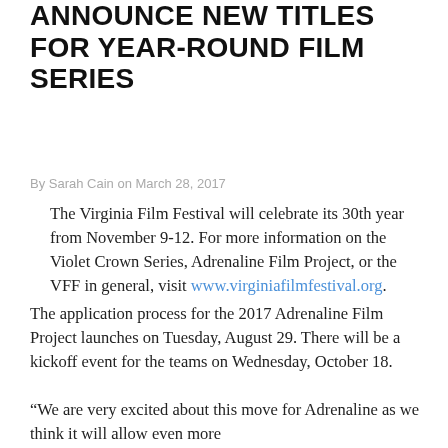ANNOUNCE NEW TITLES FOR YEAR-ROUND FILM SERIES
By Sarah Cain on March 28, 2017
The Virginia Film Festival will celebrate its 30th year from November 9-12. For more information on the Violet Crown Series, Adrenaline Film Project, or the VFF in general, visit www.virginiafilmfestival.org.
The application process for the 2017 Adrenaline Film Project launches on Tuesday, August 29. There will be a kickoff event for the teams on Wednesday, October 18.
“We are very excited about this move for Adrenaline as we think it will allow even more